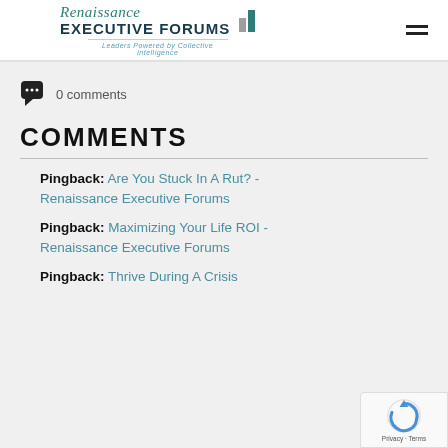Renaissance Executive Forums — Leaders Powered by Collective Intelligence
0 comments
COMMENTS
Pingback:  Are You Stuck In A Rut? - Renaissance Executive Forums
Pingback:  Maximizing Your Life ROI - Renaissance Executive Forums
Pingback:  Thrive During A Crisis